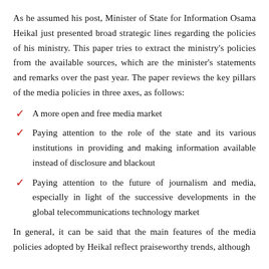As he assumed his post, Minister of State for Information Osama Heikal just presented broad strategic lines regarding the policies of his ministry. This paper tries to extract the ministry's policies from the available sources, which are the minister's statements and remarks over the past year. The paper reviews the key pillars of the media policies in three axes, as follows:
A more open and free media market
Paying attention to the role of the state and its various institutions in providing and making information available instead of disclosure and blackout
Paying attention to the future of journalism and media, especially in light of the successive developments in the global telecommunications technology market
In general, it can be said that the main features of the media policies adopted by Heikal reflect praiseworthy trends, although